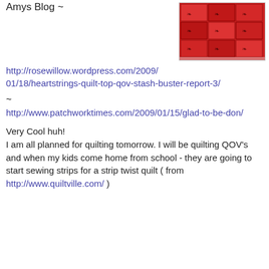Amys Blog ~
[Figure (photo): A red patchwork quilt with dark decorative patterns on a white background]
http://rosewillow.wordpress.com/2009/01/18/heartstrings-quilt-top-qov-stash-buster-report-3/
~
http://www.patchworktimes.com/2009/01/15/glad-to-be-don/
Very Cool huh!
I am all planned for quilting tomorrow. I will be quilting QOV's and when my kids come home from school - they are going to start sewing strips for a strip twist quilt ( from http://www.quiltville.com/ )